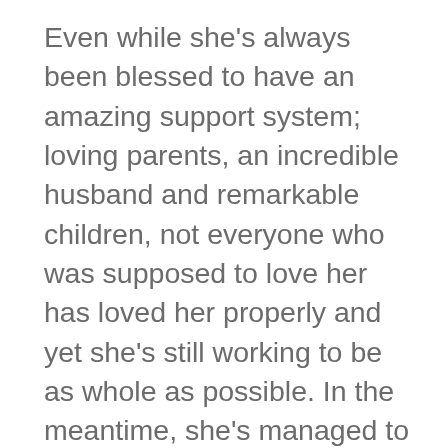Even while she's always been blessed to have an amazing support system; loving parents, an incredible husband and remarkable children, not everyone who was supposed to love her has loved her properly and yet she's still working to be as whole as possible. In the meantime, she's managed to heal in so many ways and even help and encourage a few people along the way. Insert tears. That means a lot to her.
The lessons she's learned are more than someone her age could have ever learned without God on her